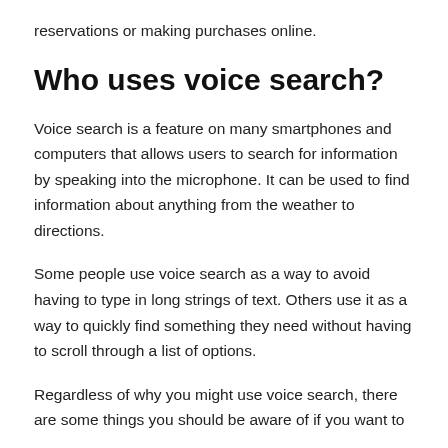reservations or making purchases online.
Who uses voice search?
Voice search is a feature on many smartphones and computers that allows users to search for information by speaking into the microphone. It can be used to find information about anything from the weather to directions.
Some people use voice search as a way to avoid having to type in long strings of text. Others use it as a way to quickly find something they need without having to scroll through a list of options.
Regardless of why you might use voice search, there are some things you should be aware of if you want to